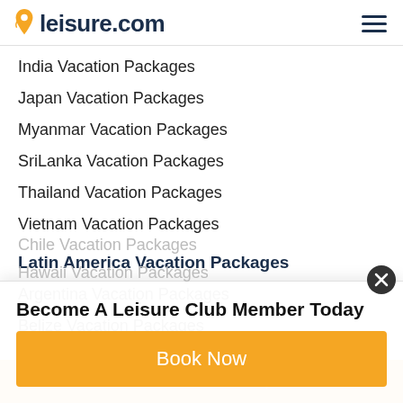leisure.com
India Vacation Packages
Japan Vacation Packages
Myanmar Vacation Packages
SriLanka Vacation Packages
Thailand Vacation Packages
Vietnam Vacation Packages
Latin America Vacation Packages
Argentina Vacation Packages
Belize Vacation Packages
Become A Leisure Club Member Today
Book Now
Chile Vacation Packages
Hawaii Vacation Packages
Let Us Plan Your Trip